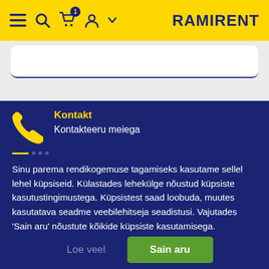RAMIRENT
Kontakt
Kontakteeru meiega
Sinu parema rendikogemuse tagamiseks kasutame sellel lehel küpsiseid. Külastades lehekülge nõustud küpsiste kasutustingimustega. Küpsistest saad loobuda, muutes kasutatava seadme veebilehitseja seadistusi. Vajutades 'Sain aru' nõustute kõikide küpsiste kasutamisega.
Loe veel
Sain aru